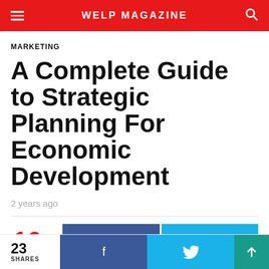WELP MAGAZINE
MARKETING
A Complete Guide to Strategic Planning For Economic Development
2 years ago
16 SHARES
23 SHARES